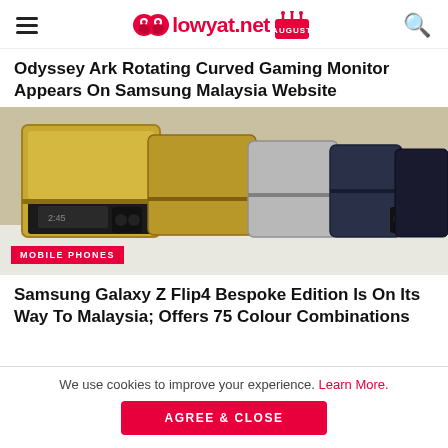lowyat.net
Odyssey Ark Rotating Curved Gaming Monitor Appears On Samsung Malaysia Website
[Figure (photo): Multiple Samsung Galaxy Z Flip4 smartphones in gold, silver, and black colors standing upright on a white surface, showing their folded form factor with camera modules visible]
MOBILE PHONES
Samsung Galaxy Z Flip4 Bespoke Edition Is On Its Way To Malaysia; Offers 75 Colour Combinations
We use cookies to improve your experience. Learn More.
AGREE & CLOSE